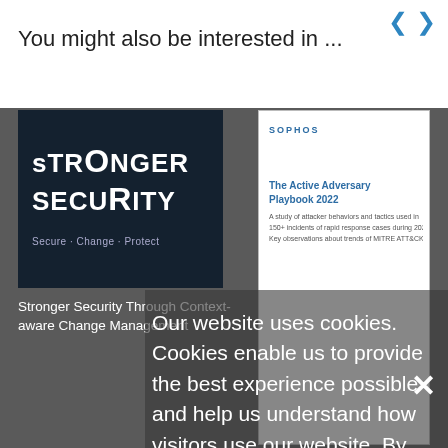You might also be interested in ...
[Figure (screenshot): Thumbnail image for 'Stronger Security Through Context-aware Change Management' article — dark blue background with bold white text 'STRONGER SECURITY']
[Figure (screenshot): Thumbnail image for 'Cyberattacker Behaviors and Tactics Used for Incident Response During 2021' — white Sophos branded report cover 'The Active Adversary Playbook 2022']
Stronger Security Through Context-aware Change Management
Cyberattacker Behaviors and Tactics Used for Incident Response During 2021
Our website uses cookies. Cookies enable us to provide the best experience possible and help us understand how visitors use our website. By browsing inforisktoday.asia, you agree to our use of cookies.
A Perfect Storm for Social Engineering: Anticipating the Human Factor in Post-